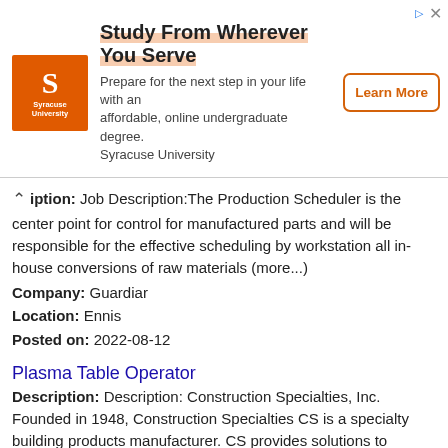[Figure (advertisement): Syracuse University advertisement banner: orange logo with S, text 'Study From Wherever You Serve', subtitle 'Prepare for the next step in your life with an affordable, online undergraduate degree. Syracuse University', and 'Learn More' button.]
Description: Job Description:The Production Scheduler is the center point for control for manufactured parts and will be responsible for the effective scheduling by workstation all in-house conversions of raw materials (more...) Company: Guardiar Location: Ennis Posted on: 2022-08-12
Plasma Table Operator
Description: Description: Construction Specialties, Inc. Founded in 1948, Construction Specialties CS is a specialty building products manufacturer. CS provides solutions to building challenges that architects, (more...) Company: Construction Specialties Location: Denton Posted on: 2022-08-19
Construction Materials Testing Technician I
Description: Overview br Construction Materials Testing Technician - Level I br br A Level I Technician will have a minimum of 6 months experience and a current ACI Concrete Field Testing Technician certification. (more...)